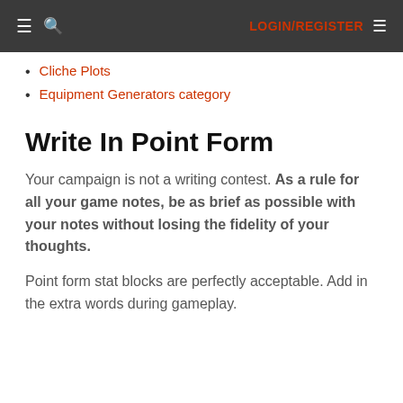LOGIN/REGISTER
Cliche Plots
Equipment Generators category
Write In Point Form
Your campaign is not a writing contest. As a rule for all your game notes, be as brief as possible with your notes without losing the fidelity of your thoughts.
Point form stat blocks are perfectly acceptable. Add in the extra words during gameplay.